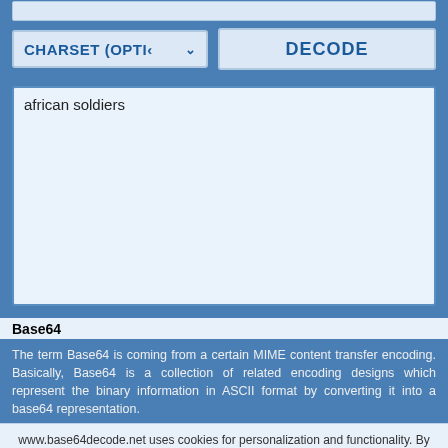[Figure (screenshot): Web UI showing CHARSET (OPTIONAL) dropdown button and DECODE button]
african soldiers
Base64
The term Base64 is coming from a certain MIME content transfer encoding. Basically, Base64 is a collection of related encoding designs which represent the binary information in ASCII format by converting it into a base64 representation.
www.base64decode.net uses cookies for personalization and functionality. By continuing using this website, you agree to our use of cookies. More info